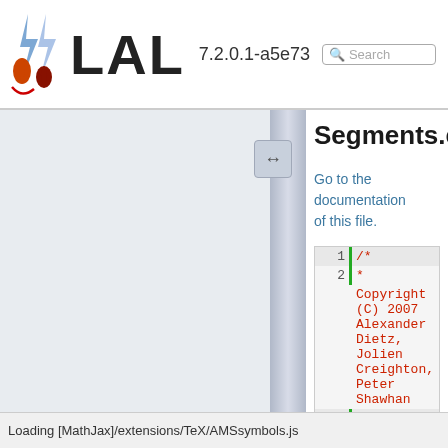LAL 7.2.0.1-a5e73  Search
Segments.c
Go to the documentation of this file.
[Figure (screenshot): Source code listing of Segments.c showing lines 1-4 with a C comment block beginning: /* * Copyright (C) 2007 Alexander Dietz, Jolien Creighton, Peter Shawhan * * This program is free software; you can redistribute it and/or modify]
Loading [MathJax]/extensions/TeX/AMSsymbols.js